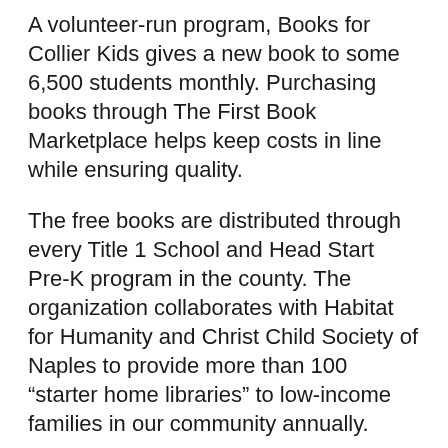A volunteer-run program, Books for Collier Kids gives a new book to some 6,500 students monthly. Purchasing books through The First Book Marketplace helps keep costs in line while ensuring quality.
The free books are distributed through every Title 1 School and Head Start Pre-K program in the county. The organization collaborates with Habitat for Humanity and Christ Child Society of Naples to provide more than 100 “starter home libraries” to low-income families in our community annually.
The group also distributes books through partners including Collier County Public Schools, Early Literacy and Learning Model (ELLM), Friends of Foster Children, Grace Place for Children &